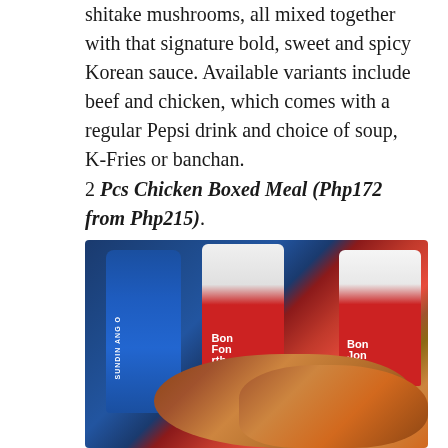shitake mushrooms, all mixed together with that signature bold, sweet and spicy Korean sauce. Available variants include beef and chicken, which comes with a regular Pepsi drink and choice of soup, K-Fries or banchan.
2 Pcs Chicken Boxed Meal (Php172 from Php215).
[Figure (photo): Photo of a Bonchon chicken meal showing a blue Pepsi can on the left, two red and white Bonchon branded cups, and fried chicken pieces in the foreground on a tray.]